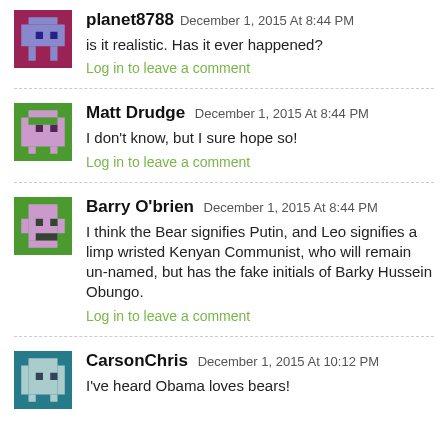planet8788 December 1, 2015 At 8:44 PM
is it realistic. Has it ever happened?
Log in to leave a comment
Matt Drudge December 1, 2015 At 8:44 PM
I don't know, but I sure hope so!
Log in to leave a comment
Barry O'brien December 1, 2015 At 8:44 PM
I think the Bear signifies Putin, and Leo signifies a limp wristed Kenyan Communist, who will remain un-named, but has the fake initials of Barky Hussein Obungo.
Log in to leave a comment
CarsonChris December 1, 2015 At 10:12 PM
I've heard Obama loves bears!